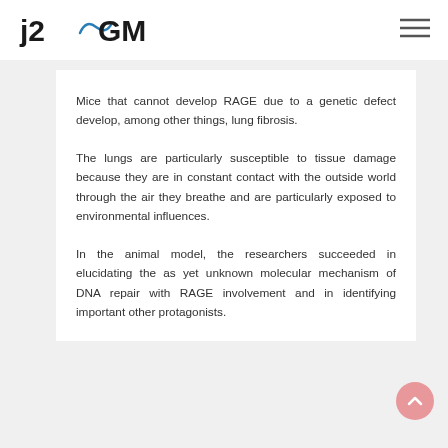j2GMN
Mice that cannot develop RAGE due to a genetic defect develop, among other things, lung fibrosis.
The lungs are particularly susceptible to tissue damage because they are in constant contact with the outside world through the air they breathe and are particularly exposed to environmental influences.
In the animal model, the researchers succeeded in elucidating the as yet unknown molecular mechanism of DNA repair with RAGE involvement and in identifying important other protagonists.